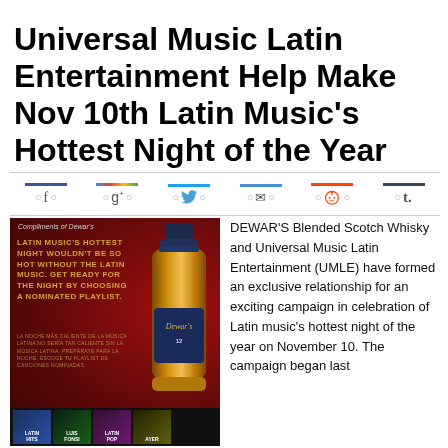Universal Music Latin Entertainment Help Make Nov 10th Latin Music's Hottest Night of the Year
[Figure (illustration): Social sharing icons bar with colored top borders: Facebook (blue), Google+ (multicolor), Twitter (blue), Email (blue), Reddit (red), Tumblr (blue)]
[Figure (photo): Dewar's advertisement image showing a dark red background with gold text about Latin Music's Hottest Night, a Dewar's 12 whisky bottle on the right, Spanish translation text below the English, and album playlist thumbnails at the bottom. Label at top reads 'Compliments of Dewar's'.]
DEWAR'S Blended Scotch Whisky and Universal Music Latin Entertainment (UMLE) have formed an exclusive relationship for an exciting campaign in celebration of Latin music's hottest night of the year on November 10. The campaign began last